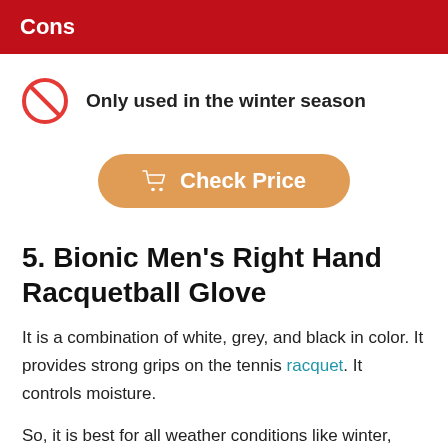Cons
Only used in the winter season
[Figure (other): Orange rounded button with shopping cart icon and text 'Check Price']
5. Bionic Men's Right Hand Racquetball Glove
It is a combination of white, grey, and black in color. It provides strong grips on the tennis racquet. It controls moisture.
So, it is best for all weather conditions like winter, summer,